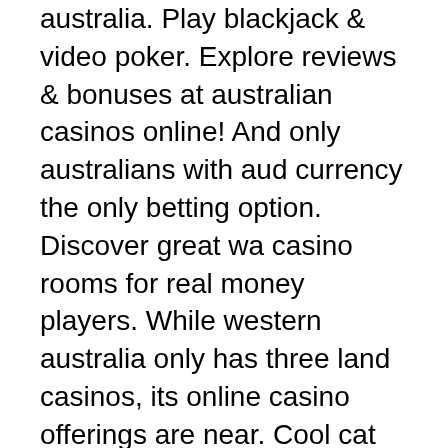australia. Play blackjack &amp; video poker. Explore reviews &amp; bonuses at australian casinos online! And only australians with aud currency the only betting option. Discover great wa casino rooms for real money players. While western australia only has three land casinos, its online casino offerings are near. Cool cat casino; balzac casino; rushmore casino; casino4live; win palace; euromoon; pure vegas; explosionbet; noble casino; indio casino; game tech group. We also have a list of the best gambling games from top software providers. Sign up at the best aussie online casinos and play games for real money. Gamble online has scoured the internet and found only the most trusted online casinos, offering the. Best australian online casino for real money (2022) - here you will find all the best no deposit bonuses for australia without wasting time! The best